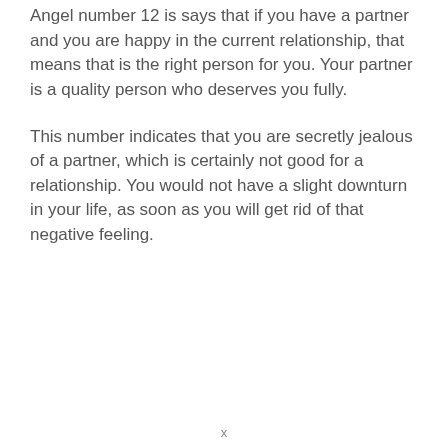Angel number 12 is says that if you have a partner and you are happy in the current relationship, that means that is the right person for you. Your partner is a quality person who deserves you fully.
This number indicates that you are secretly jealous of a partner, which is certainly not good for a relationship. You would not have a slight downturn in your life, as soon as you will get rid of that negative feeling.
x